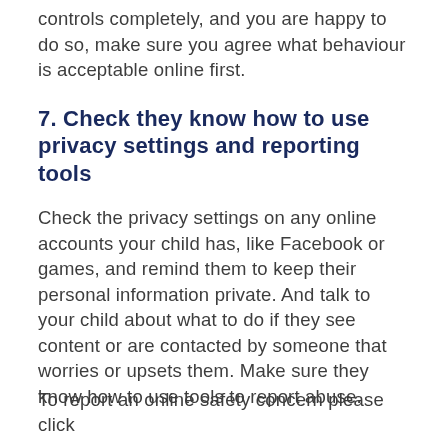controls completely, and you are happy to do so, make sure you agree what behaviour is acceptable online first.
7. Check they know how to use privacy settings and reporting tools
Check the privacy settings on any online accounts your child has, like Facebook or games, and remind them to keep their personal information private. And talk to your child about what to do if they see content or are contacted by someone that worries or upsets them. Make sure they know how to use tools to report abuse.
To report an online safety concern please click